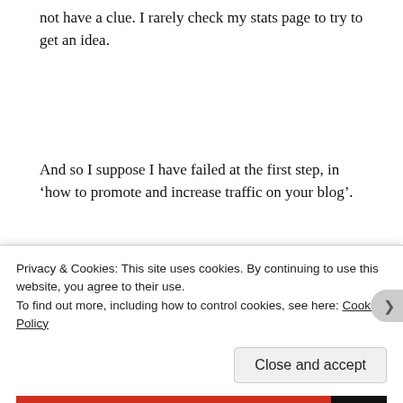not have a clue. I rarely check my stats page to try to get an idea.
And so I suppose I have failed at the first step, in ‘how to promote and increase traffic on your blog’.
...
This entry was posted...
Privacy & Cookies: This site uses cookies. By continuing to use this website, you agree to their use. To find out more, including how to control cookies, see here: Cookie Policy
Close and accept